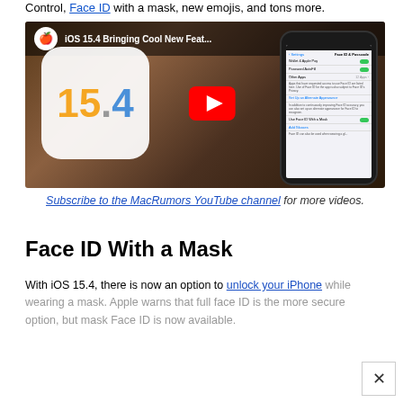Control, Face ID with a mask, new emojis, and tons more.
[Figure (screenshot): YouTube video thumbnail for 'iOS 15.4 Bringing Cool New Feat...' showing iOS 15.4 logo on left and iPhone screen with Face ID & Passcode settings on right, with MacRumors logo and YouTube play button overlay]
Subscribe to the MacRumors YouTube channel for more videos.
Face ID With a Mask
With iOS 15.4, there is now an option to unlock your iPhone while wearing a mask. Apple warns that full face ID is the more secure option, but mask Face ID is now available.